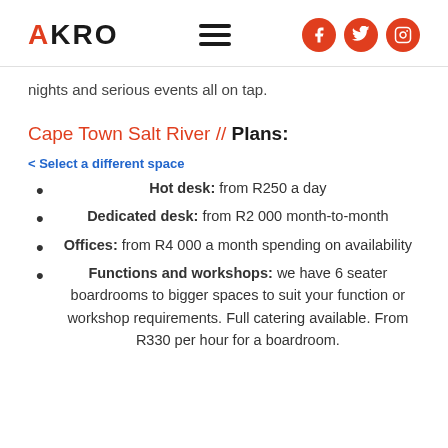AKRO
nights and serious events all on tap.
Cape Town Salt River // Plans:
< Select a different space
Hot desk: from R250 a day
Dedicated desk: from R2 000 month-to-month
Offices: from R4 000 a month spending on availability
Functions and workshops: we have 6 seater boardrooms to bigger spaces to suit your function or workshop requirements. Full catering available. From R330 per hour for a boardroom.